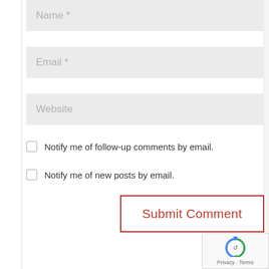Name *
Email *
Website
Notify me of follow-up comments by email.
Notify me of new posts by email.
Submit Comment
[Figure (logo): reCAPTCHA badge with arrow/refresh icon and Privacy - Terms text]